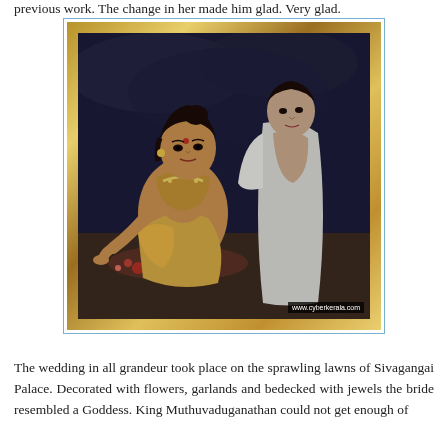previous work. The change in her made him glad. Very glad.
[Figure (illustration): A classical Indian painting in a golden ornate frame, showing two women: one leaning forward among flowers, wearing traditional jewelry and attire, another standing behind in white garments. Framed image shown inside a light blue border. Watermark reads www.cyberkerala.com]
The wedding in all grandeur took place on the sprawling lawns of Sivagangai Palace. Decorated with flowers, garlands and bedecked with jewels the bride resembled a Goddess. King Muthuvaduganathan could not get enough of